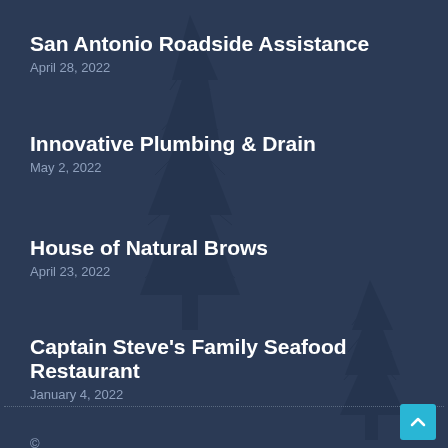San Antonio Roadside Assistance
April 28, 2022
Innovative Plumbing & Drain
May 2, 2022
House of Natural Brows
April 23, 2022
Captain Steve's Family Seafood Restaurant
January 4, 2022
© Great Biz Listing